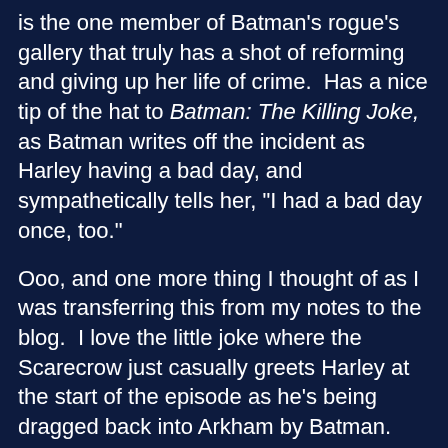is the one member of Batman's rogue's gallery that truly has a shot of reforming and giving up her life of crime.  Has a nice tip of the hat to Batman: The Killing Joke, as Batman writes off the incident as Harley having a bad day, and sympathetically tells her, "I had a bad day once, too."
Ooo, and one more thing I thought of as I was transferring this from my notes to the blog.  I love the little joke where the Scarecrow just casually greets Harley at the start of the episode as he's being dragged back into Arkham by Batman.  Since the Scarecrow was a professor of psychology at Gotham University, and Harley studied psychology at Gotham University, my head-canon has always been that Harley was once one of the Scarecrow's grad students.
Almost Got 'Im:
Poison Ivy: Harvey. You're looking halfway decent.
Two-Face: Half of me wants to strangle you.
Poison Ivy: And the other?
Two-Face: Wants to hit you with a truck.
Poison Ivy: We used to date.